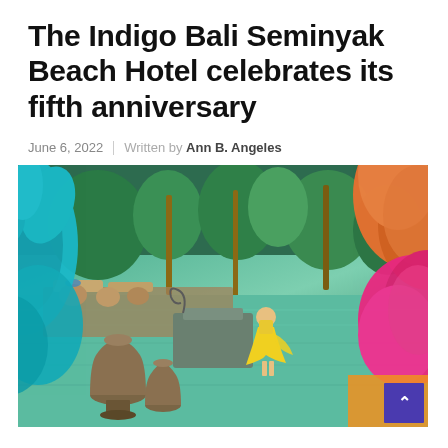The Indigo Bali Seminyak Beach Hotel celebrates its fifth anniversary
June 6, 2022 | Written by Ann B. Angeles
[Figure (photo): Outdoor pool area of the Indigo Bali Seminyak Beach Hotel with lush tropical greenery, a woman in a yellow dress standing by the pool, lounge chairs, decorative stone urns, and colorful large-scale floral murals/decorations in teal, orange, and pink on the sides. A purple back-to-top button is visible in the lower right corner.]